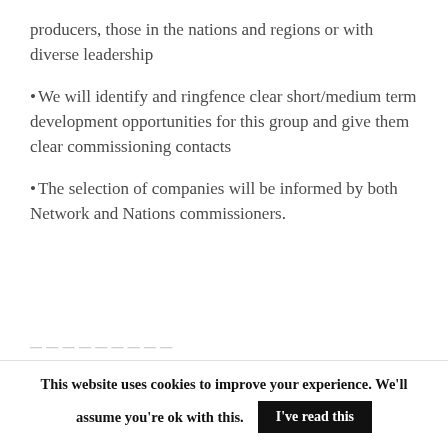producers, those in the nations and regions or with diverse leadership
We will identify and ringfence clear short/medium term development opportunities for this group and give them clear commissioning contacts
The selection of companies will be informed by both Network and Nations commissioners.
This website uses cookies to improve your experience. We'll assume you're ok with this. I've read this